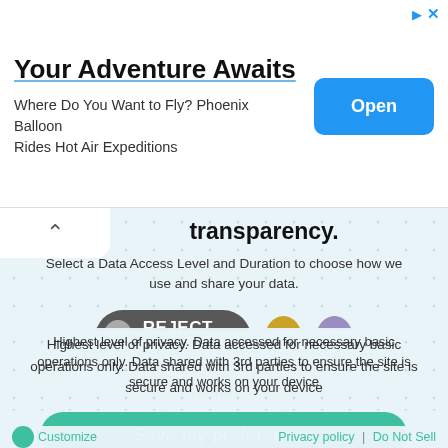[Figure (screenshot): Advertisement banner: 'Your Adventure Awaits - Where Do You Want to Fly? Phoenix Balloon Rides Hot Air Expeditions' with an Open button]
transparency.
Select a Data Access Level and Duration to choose how we use and share your data.
[Figure (infographic): REJECT ALL button (dark grey pill with grey circle), gold circle, purple circle]
[Figure (infographic): 1 month dropdown selector with teal border]
Highest level of privacy. Data accessed for necessary basic operations only. Data shared with 3rd parties to ensure the site is secure and works on your device
[Figure (infographic): Save my preferences button (teal rounded rectangle)]
Customize  |  Privacy policy  |  Do Not Sell